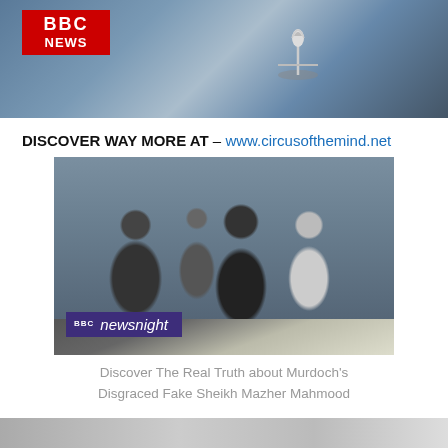[Figure (photo): BBC News banner image showing a Rolls-Royce hood ornament against a blue-grey background, with BBC News logo in red top-left]
DISCOVER WAY MORE AT – www.circusofthemind.net
[Figure (screenshot): BBC Newsnight screenshot showing a group of people outside a building, with BBC Newsnight logo overlay in purple at bottom left]
Discover The Real Truth about Murdoch's Disgraced Fake Sheikh Mazher Mahmood
DISCOVER WAY MORE AT – www.circusofthemind.net
[Figure (photo): Partial bottom image strip, partially visible]